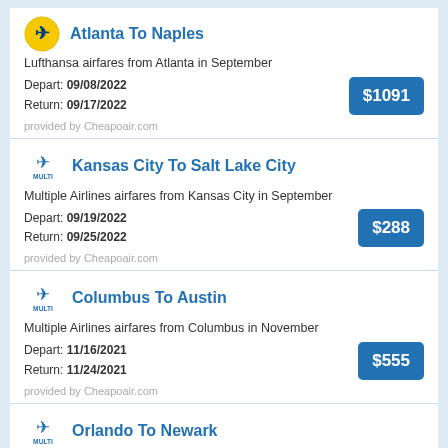Atlanta To Naples
Lufthansa airfares from Atlanta in September
Depart: 09/08/2022
Return: 09/17/2022
$1091
provided by Cheapoair.com
Kansas City To Salt Lake City
Multiple Airlines airfares from Kansas City in September
Depart: 09/19/2022
Return: 09/25/2022
$288
provided by Cheapoair.com
Columbus To Austin
Multiple Airlines airfares from Columbus in November
Depart: 11/16/2021
Return: 11/24/2021
$555
provided by Cheapoair.com
Orlando To Newark